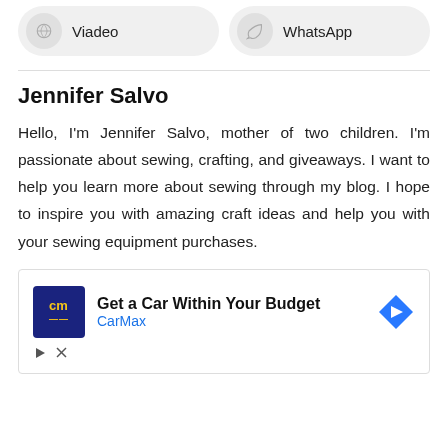Viadeo
WhatsApp
Jennifer Salvo
Hello, I'm Jennifer Salvo, mother of two children. I'm passionate about sewing, crafting, and giveaways. I want to help you learn more about sewing through my blog. I hope to inspire you with amazing craft ideas and help you with your sewing equipment purchases.
[Figure (other): CarMax advertisement banner: Get a Car Within Your Budget with CarMax logo and navigation arrow icon]